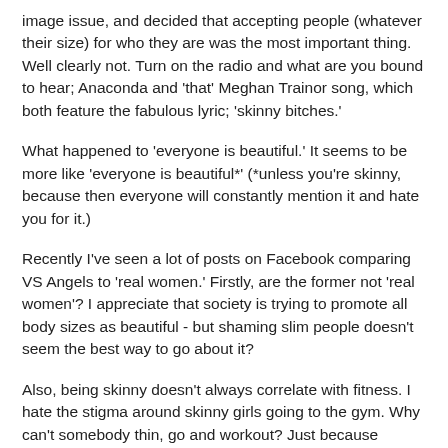image issue, and decided that accepting people (whatever their size) for who they are was the most important thing. Well clearly not. Turn on the radio and what are you bound to hear; Anaconda and 'that' Meghan Trainor song, which both feature the fabulous lyric; 'skinny bitches.'
What happened to 'everyone is beautiful.' It seems to be more like 'everyone is beautiful*' (*unless you're skinny, because then everyone will constantly mention it and hate you for it.)
Recently I've seen a lot of posts on Facebook comparing VS Angels to 'real women.' Firstly, are the former not 'real women'? I appreciate that society is trying to promote all body sizes as beautiful - but shaming slim people doesn't seem the best way to go about it?
Also, being skinny doesn't always correlate with fitness. I hate the stigma around skinny girls going to the gym. Why can't somebody thin, go and workout? Just because someone is skinny it doesn't mean that they can run cross country or swim 100 lengths of a pool. So why should it be